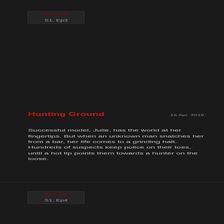[Figure (other): Placeholder image box for S1, Ep3 with 'Add Image' text overlay]
Hunting Ground
16 Apr. 2019
Successful model, Julie, has the world at her fingertips. But when an unknown man snatches her from a bar, her life comes to a grinding halt. Hundreds of suspects keep police on their toes, until a hot tip points them towards a hunter on the loose.
[Figure (other): Placeholder image box for S1, Ep4 with 'Add Image' text overlay]
Cruel and Unusual
23 Apr. 2019
When a father finds his teen daughter brutally